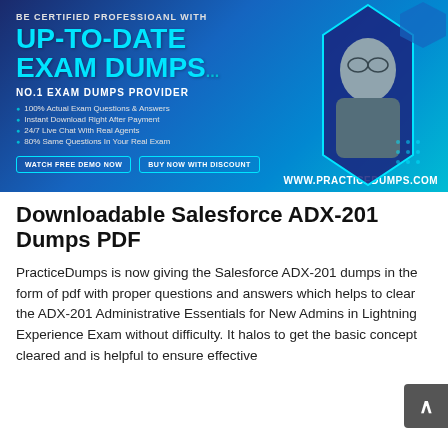[Figure (illustration): Promotional banner for PracticeDumps.com featuring 'UP-TO-DATE EXAM DUMPS' text in cyan on dark blue background, with a photo of a man wearing glasses and denim jacket, hexagonal decorative elements, bullet points listing features, two CTA buttons, and website URL www.practicedumps.com]
Downloadable Salesforce ADX-201 Dumps PDF
PracticeDumps is now giving the Salesforce ADX-201 dumps in the form of pdf with proper questions and answers which helps to clear the ADX-201 Administrative Essentials for New Admins in Lightning Experience Exam without difficulty. It halos to get the basic concept cleared and is helpful to ensure effective